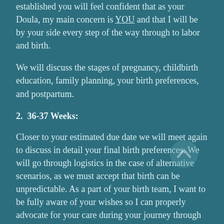established you will feel confident that as your Doula, my main concern is YOU and that I will be by your side every step of the way through to labor and birth.
We will discuss the stages of pregnancy, childbirth education, family planning, your birth preferences, and postpartum.
2.  36-37 Weeks:
Closer to your estimated due date we will meet again to discuss in detail your final birth preferences. We will go through logistics in the case of alternative scenarios, as we must accept that birth can be unpredictable. As a part of your birth team, I want to be fully aware of your wishes so I can properly advocate for your care during your journey through labor and birth. During this meeting, I also like to check in on your emotional state and offer any support I can provide or refer you for specialist support.